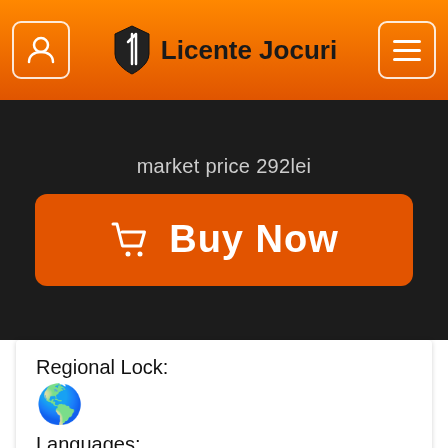Licente Jocuri
market price 292lei
Buy Now
Regional Lock:
[Figure (illustration): Globe emoji indicating global/worldwide regional lock]
Languages:
[Figure (illustration): Flag icons: UK, Germany, France, Spain, Hungary, Poland, Russia, Italy]
MEDIA GALERY